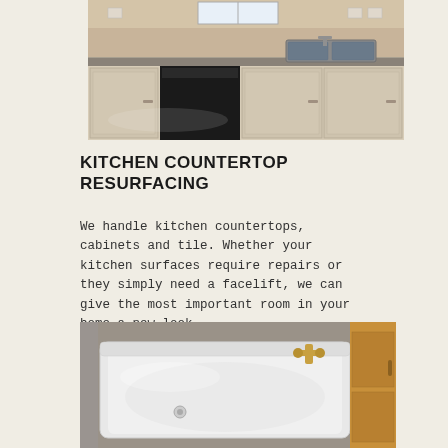[Figure (photo): Kitchen countertop with sink, cabinets, and black dishwasher. Gray speckled countertop surface visible in foreground.]
KITCHEN COUNTERTOP RESURFACING
We handle kitchen countertops, cabinets and tile. Whether your kitchen surfaces require repairs or they simply need a facelift, we can give the most important room in your home a new look.
[Figure (photo): White bathtub with gold/brass faucet set into a gray surround, with wooden cabinet visible on the right.]